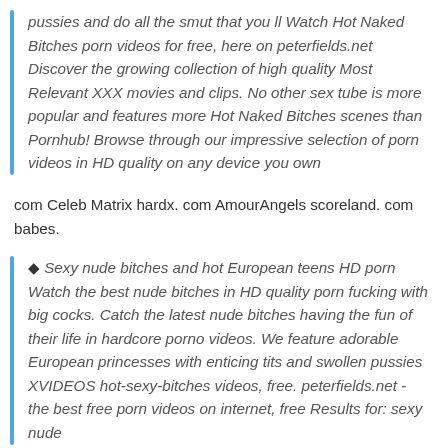pussies and do all the smut that you ll Watch Hot Naked Bitches porn videos for free, here on peterfields.net Discover the growing collection of high quality Most Relevant XXX movies and clips. No other sex tube is more popular and features more Hot Naked Bitches scenes than Pornhub! Browse through our impressive selection of porn videos in HD quality on any device you own
com Celeb Matrix hardx. com AmourAngels scoreland. com babes.
◆ Sexy nude bitches and hot European teens HD porn Watch the best nude bitches in HD quality porn fucking with big cocks. Catch the latest nude bitches having the fun of their life in hardcore porno videos. We feature adorable European princesses with enticing tits and swollen pussies XVIDEOS hot-sexy-bitches videos, free. peterfields.net - the best free porn videos on internet, free Results for: sexy nude